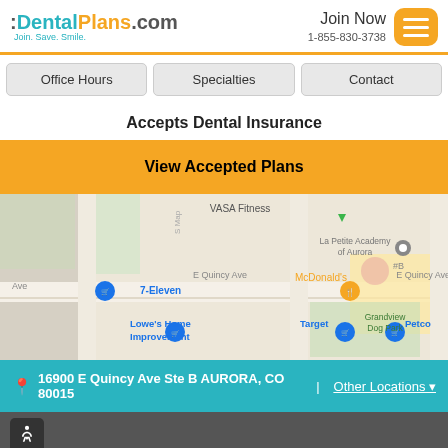:DentalPlans.com Join. Save. Smile. | Join Now 1-855-830-3738
Office Hours
Specialties
Contact
Accepts Dental Insurance
View Accepted Plans
[Figure (map): Google Maps showing location near 16900 E Quincy Ave, Aurora, CO. Shows nearby landmarks: VASA Fitness, La Petite Academy of Aurora, 7-Eleven, McDonald's, Lowe's Home Improvement, Target, Petco, Grandview Dog Park.]
16900 E Quincy Ave Ste B AURORA, CO 80015 | Other Locations